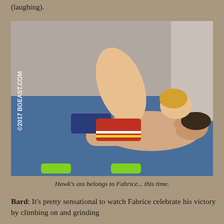(laughing).
[Figure (photo): Two wrestlers on a blue mat. One blonde young man in blue underwear is on top, arching over another dark-haired man who lies face-down on the mat. Watermark reads ©2017 BGEAST.COM.]
Hawk's ass belongs to Fabrice... this time.
Bard: It's pretty sensational to watch Fabrice celebrate his victory by climbing on and grinding